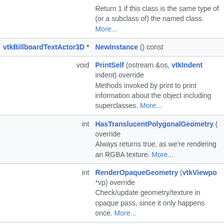| type | description |
| --- | --- |
|  | Return 1 if this class is the same type of (or a subclass of) the named class. More... |
| vtkBillboardTextActor3D * | NewInstance () const |
| void | PrintSelf (ostream &os, vtkIndent indent) override
Methods invoked by print to print information about the object including superclasses. More... |
| int | HasTranslucentPolygonalGeometry () override
Always returns true, as we're rendering an RGBA texture. More... |
| int | RenderOpaqueGeometry (vtkViewport *vp) override
Check/update geometry/texture in opaque pass, since it only happens once. More... |
| int | RenderTranslucentPolygonalGeometry (...) |